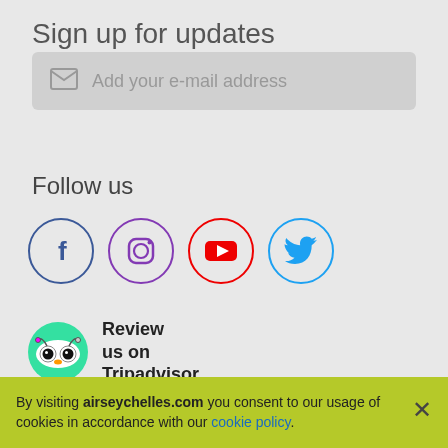Sign up for updates
Add your e-mail address
Follow us
[Figure (illustration): Four social media icons in circles: Facebook (dark blue border, F icon), Instagram (purple border, camera icon), YouTube (red border, play button), Twitter (light blue border, bird icon)]
[Figure (logo): TripAdvisor owl logo in green circle with text 'Review us on Tripadvisor']
By visiting airseychelles.com you consent to our usage of cookies in accordance with our cookie policy.